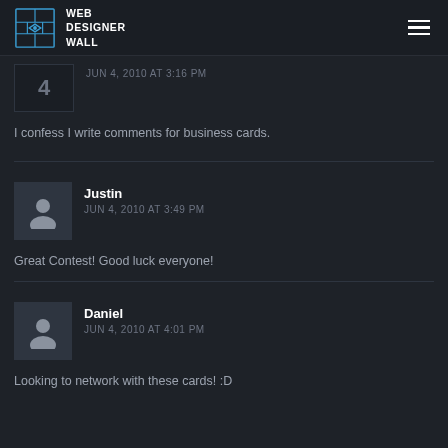WEB DESIGNER WALL
JUN 4, 2010 AT 3:16 PM
I confess I write comments for business cards.
Justin
JUN 4, 2010 AT 3:49 PM
Great Contest! Good luck everyone!
Daniel
JUN 4, 2010 AT 4:01 PM
Looking to network with these cards! :D